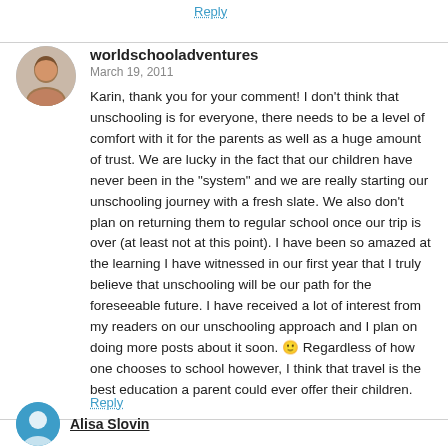Reply
worldschooladventures
March 19, 2011
Karin, thank you for your comment! I don't think that unschooling is for everyone, there needs to be a level of comfort with it for the parents as well as a huge amount of trust. We are lucky in the fact that our children have never been in the "system" and we are really starting our unschooling journey with a fresh slate. We also don't plan on returning them to regular school once our trip is over (at least not at this point). I have been so amazed at the learning I have witnessed in our first year that I truly believe that unschooling will be our path for the foreseeable future. I have received a lot of interest from my readers on our unschooling approach and I plan on doing more posts about it soon. 🙂 Regardless of how one chooses to school however, I think that travel is the best education a parent could ever offer their children.
Reply